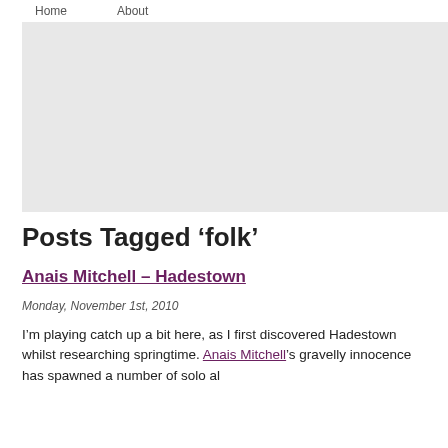Home   About
[Figure (other): Large light gray banner/header image area]
Posts Tagged ‘folk’
Anais Mitchell – Hadestown
Monday, November 1st, 2010
I’m playing catch up a bit here, as I first discovered Hadestown whilst researching springtime. Anais Mitchell’s gravelly innocence has spawned a number of solo al